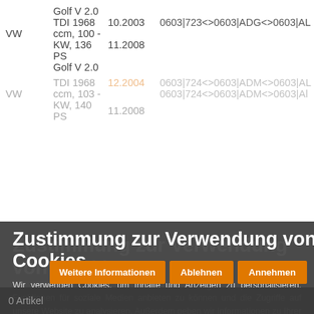| Brand | Model/Engine | Date From | Code |
| --- | --- | --- | --- |
| VW | Golf V 2.0
TDI 1968 ccm, 100 - KW, 136 PS | 10.2003
11.2008 | 0603|723<>0603|ADG<>0603|AL |
|  | Golf V 2.0
TDI 1968 ccm, 103 - kw, 140 PS | 12.2004
11.2008 | 0603|724<>0603|ADM<>0603|AL |
|  | Golf V 2.0
TDI 1968 ... | 11.2005
... | ... |
Zustimmung zur Verwendung von Cookies
Wir verwenden Cookies, um Inhalte und Anzeigen zu personalisieren, Funktionen für soziale Medien anbieten zu können und die Zugriffe auf unsere Website zu analysieren. Außerdem geben wir Informationen zu Ihrer Nutzung unserer Website an unsere Partner für soziale Medien, Werbung und Analysen weiter. Des weiteren werden rein technische Cookies verwendet um die Funktion der Webseite zu gewährleisten, dies ist nicht deaktivierbar.
Weitere Informationen | Ablehnen | Annehmen
0 Artikel